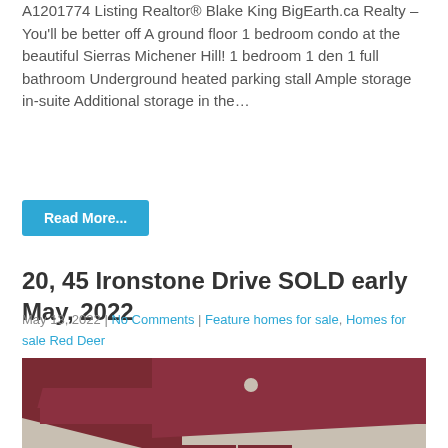A1201774 Listing Realtor® Blake King BigEarth.ca Realty – You'll be better off A ground floor 1 bedroom condo at the beautiful Sierras Michener Hill! 1 bedroom 1 den 1 full bathroom Underground heated parking stall Ample storage in-suite Additional storage in the…
Read More...
20, 45 Ironstone Drive SOLD early May, 2022
May 13, 2022 | No Comments | Feature homes for sale, Homes for sale Red Deer
[Figure (photo): Exterior photo of a residential property showing dark red/maroon trim, siding, roof overhang, and windows]